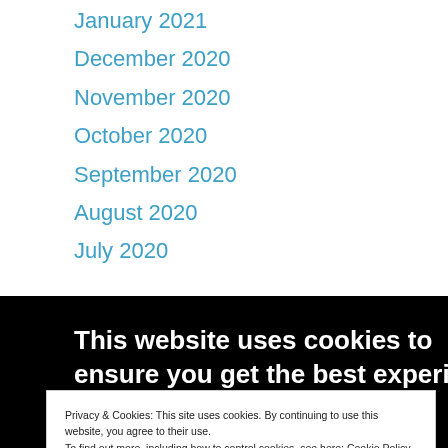January 2021
December 2020
November 2020
October 2020
September 2020
August 2020
July 2020
This website uses cookies to ensure you get the best experience on our website.
Privacy & Cookies: This site uses cookies. By continuing to use this website, you agree to their use.
To find out more, including how to control cookies, see here: Cookie Policy
Close and accept
December 2019